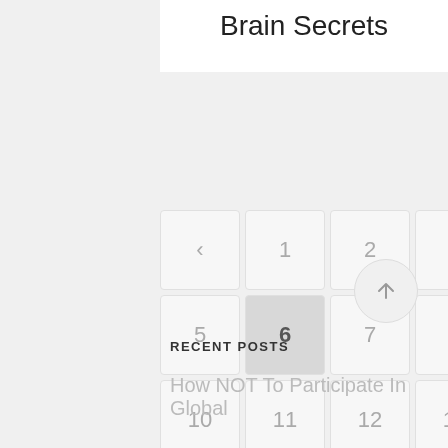Brain Secrets
[Figure (other): Pagination grid showing pages 1-13 with current page 6 highlighted, and previous/next navigation arrows]
[Figure (other): Scroll-to-top button: circle with upward arrow]
RECENT POSTS
How NOT To Participate In Global